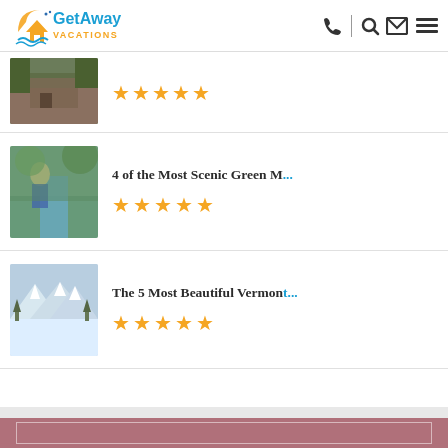[Figure (logo): GetAway Vacations logo with house and wave graphic]
[Figure (photo): Thumbnail of a cabin/deck in a forest setting with stars rating (partial item, top cut off)]
4 of the Most Scenic Green M...
[Figure (photo): Thumbnail of a woman hiking by a forest stream]
The 5 Most Beautiful Vermont...
[Figure (photo): Thumbnail of a snowy mountain landscape with snow-covered trees]
[Figure (photo): Pink/mauve colored background section at the bottom of the page]